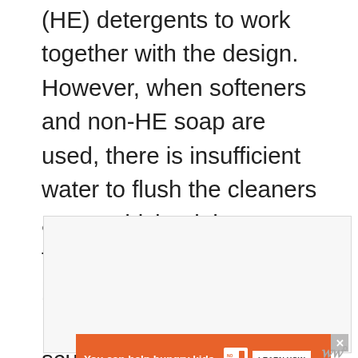(HE) detergents to work together with the design. However, when softeners and non-HE soap are used, there is insufficient water to flush the cleaners away, which might cause the washer drum to become coated with a layer of dirt and soap scum from your clothes. When this combines with the damp heat of your washing machine, it forms a perfect breeding ground for mildew and mold.
[Figure (other): Advertisement banner: orange background with 'You can help hungry kids.' text, No Kid Hungry logo, and LEARN HOW button. A close (X) button is visible at top right of the ad. A WW logo with superscript appears to the right.]